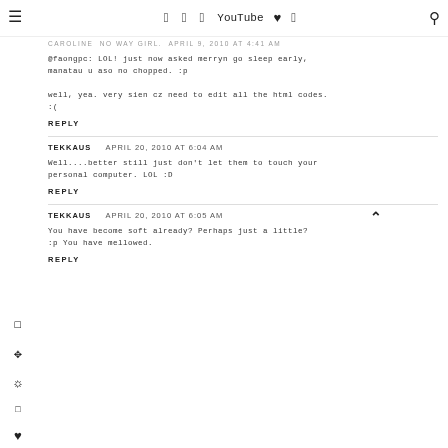Navigation bar with hamburger menu and social icons: Facebook, Twitter, Instagram, YouTube, Heart, Pinterest, Search
CAROLINE  NO WAY GIRL. APRIL 9, 2010 AT 4:41 AM
@faongpc: LOL! just now asked merryn go sleep early, manatau u aso no chopped. :p

well, yea. very sien cz need to edit all the html codes. :(
REPLY
TEKKAUS   APRIL 20, 2010 AT 6:04 AM
Well....better still just don't let them to touch your personal computer. LOL :D
REPLY
TEKKAUS   APRIL 20, 2010 AT 6:05 AM
You have become soft already? Perhaps just a little? :p You have mellowed.
REPLY